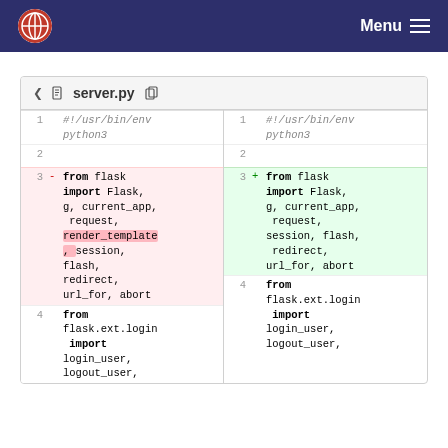Menu
[Figure (screenshot): Code diff view of server.py showing changes to flask imports. Left side (removed, red background): from flask import Flask, g, current_app, request, render_template, session, flash, redirect, url_for, abort. Right side (added, green background): from flask import Flask, g, current_app, request, session, flash, redirect, url_for, abort. Line 4 on both sides: from flask.ext.login import login_user, logout_user.]